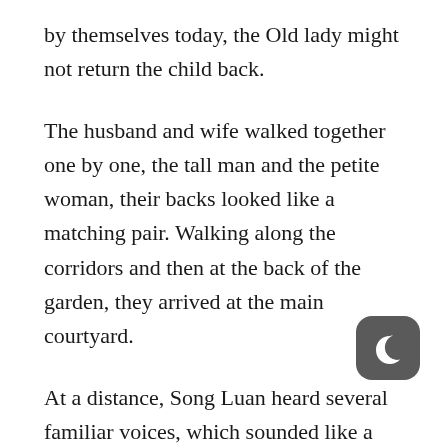by themselves today, the Old lady might not return the child back.
The husband and wife walked together one by one, the tall man and the petite woman, their backs looked like a matching pair. Walking along the corridors and then at the back of the garden, they arrived at the main courtyard.
At a distance, Song Luan heard several familiar voices, which sounded like a mocking laughter.
[Figure (illustration): A dark rounded square icon containing a crescent moon symbol in white, resembling a night mode or reading app icon.]
“Really? My third uncle really scolded my